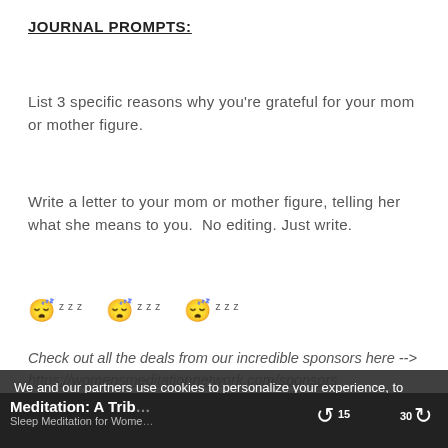JOURNAL PROMPTS:
List 3 specific reasons why you're grateful for your mom or mother figure.
Write a letter to your mom or mother figure, telling her what she means to you.  No editing. Just write.
😴zzz 😴zzz 😴zzz
Check out all the deals from our incredible sponsors here --> https://womensmeditationnetwork.com/sponsors
We and our partners use cookies to personalize your experience, to show you ads based on your interests, and for measurement and analytics purposes. By using our website and our services,
Meditation: A Trib...
Sleep Meditation for Wome...